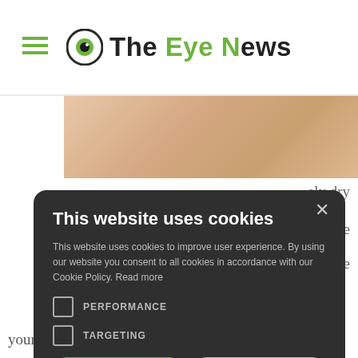The Eye News
[Figure (screenshot): Cookie consent modal on The Eye News website. Dark rounded-rectangle modal with title 'This website uses cookies', body text, checkboxes for PERFORMANCE and TARGETING, ACCEPT ALL and DECLINE ALL buttons, and SHOW DETAILS link. Background shows partial article image and text.]
your hands after applying it.